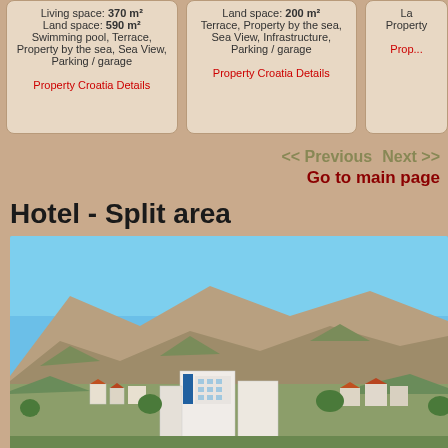Living space: 370 m² Land space: 590 m² Swimming pool, Terrace, Property by the sea, Sea View, Parking / garage
Property Croatia Details
Land space: 200 m² Terrace, Property by the sea, Sea View, Infrastructure, Parking / garage
Property Croatia Details
La... Property...
Prop...
<< Previous   Next >>
Go to main page
Hotel - Split area
[Figure (photo): Aerial/coastal view of a Croatian town near Split, showing white hotel buildings in the foreground with mountains and blue sky in the background]